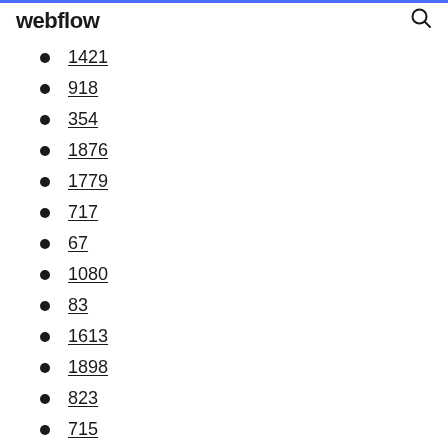webflow
1421
918
354
1876
1779
717
67
1080
83
1613
1898
823
715